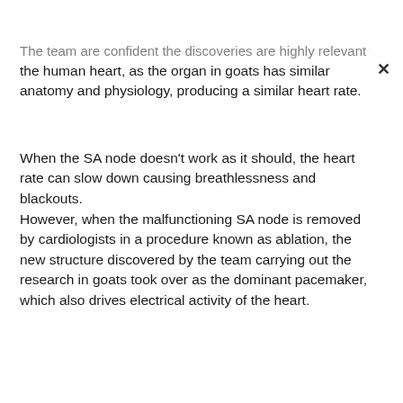The team are confident the discoveries are highly relevant to the human heart, as the organ in goats has similar anatomy and physiology, producing a similar heart rate.
When the SA node doesn't work as it should, the heart rate can slow down causing breathlessness and blackouts.
However, when the malfunctioning SA node is removed by cardiologists in a procedure known as ablation, the new structure discovered by the team carrying out the research in goats took over as the dominant pacemaker, which also drives electrical activity of the heart.